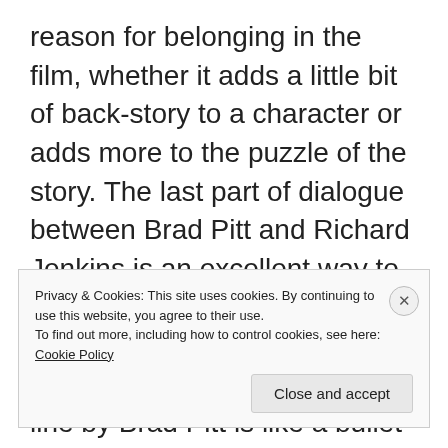reason for belonging in the film, whether it adds a little bit of back-story to a character or adds more to the puzzle of the story. The last part of dialogue between Brad Pitt and Richard Jenkins is an excellent way to end the film by tying in the banking crisis storyline without becoming preachy, and the last line by Brad Pitt is like a bullet in the way in punches to the heart of his character and his motivation.
Privacy & Cookies: This site uses cookies. By continuing to use this website, you agree to their use.
To find out more, including how to control cookies, see here: Cookie Policy
Close and accept